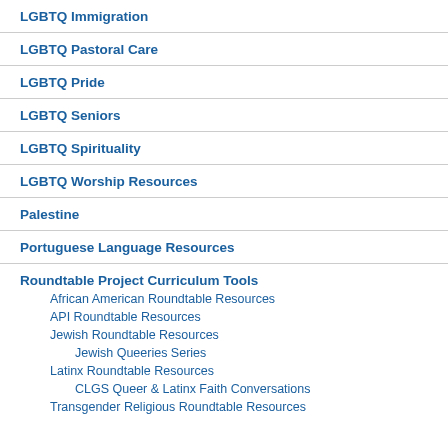LGBTQ Immigration
LGBTQ Pastoral Care
LGBTQ Pride
LGBTQ Seniors
LGBTQ Spirituality
LGBTQ Worship Resources
Palestine
Portuguese Language Resources
Roundtable Project Curriculum Tools
African American Roundtable Resources
API Roundtable Resources
Jewish Roundtable Resources
Jewish Queeries Series
Latinx Roundtable Resources
CLGS Queer & Latinx Faith Conversations
Transgender Religious Roundtable Resources